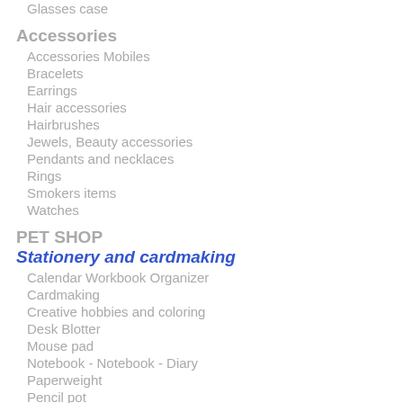Vanity, Beauty bags
Wallet
Glasses case
Accessories
Accessories Mobiles
Bracelets
Earrings
Hair accessories
Hairbrushes
Jewels, Beauty accessories
Pendants and necklaces
Rings
Smokers items
Watches
PET SHOP
Stationery and cardmaking
Calendar Workbook Organizer
Cardmaking
Creative hobbies and coloring
Desk Blotter
Mouse pad
Notebook - Notebook - Diary
Paperweight
Pencil pot
Stationery
Stickers
Wastebasket
Writing and Correction
Games and toys
Board games
Figures
Jigsaws
Models and replicas